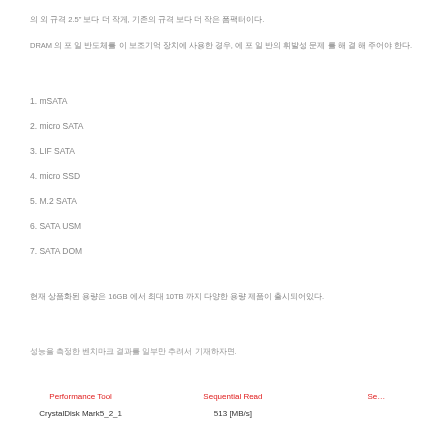의 외 규격 2.5" 보다 더 작게, 기존의 규격 보다 더 작은 폼팩터이다.
DRAM 의 포 일 반도체를 이 보조기억 장치에 사용한 경우, 에 포 일 반의 휘발성 문제 를 해 결 해 주어야 한다.
1. mSATA
2. micro SATA
3. LIF SATA
4. micro SSD
5. M.2 SATA
6. SATA USM
7. SATA DOM
현재 상품화된 용량은 16GB 에서 최대 10TB 까지 다양한 용량 제품이 출시되어있다.
성능을 측정한 벤치마크 결과를 일부만 추려서 기재하자면.
| Performance Tool | Sequential Read | Se... |
| --- | --- | --- |
| CrystalDisk Mark5_2_1 | 513 [MB/s] |  |